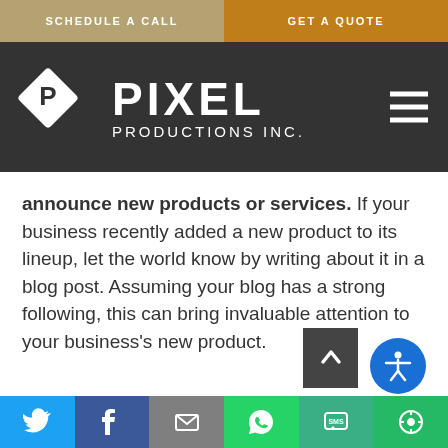SCHEDULE A CALL | GET A QUOTE
[Figure (logo): Pixel Productions Inc. logo with diamond P icon on dark background with hamburger menu]
announce new products or services. If your business recently added a new product to its lineup, let the world know by writing about it in a blog post. Assuming your blog has a strong following, this can bring invaluable attention to your business's new product.
3.  BLOG POSTS = LEAD
Twitter | Facebook | Email | WhatsApp | SMS | More